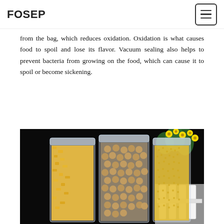FOSEP
from the bag, which reduces oxidation. Oxidation is what causes food to spoil and lose its flavor. Vacuum sealing also helps to prevent bacteria from growing on the food, which can cause it to spoil or become sickening.
[Figure (photo): Three transparent stand-up zip-lock bags filled with food items — yellow corn flakes/crumbs on the left, round soybeans/chickpeas in the center, and yellow granules on the right — displayed against a dark black background with a white picket fence and yellow flowers in the background.]